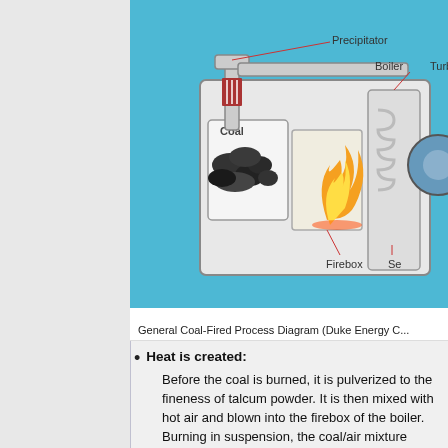[Figure (engineering-diagram): General Coal-Fired Process Diagram showing Precipitator, Boiler, Turbine, Coal storage, Firebox with flame, and connected piping. Labels include Precipitator, Boiler, Turb(ine), Coal, Firebox, Se(parator). Background is light blue.]
General Coal-Fired Process Diagram (Duke Energy C...
Heat is created:
Before the coal is burned, it is pulverized to the fineness of talcum powder. It is then mixed with hot air and blown into the firebox of the boiler. Burning in suspension, the coal/air mixture provides the most complete combustion and maximum heat possible.